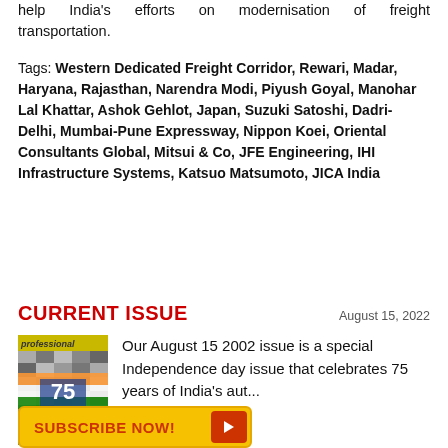help India's efforts on modernisation of freight transportation.
Tags: Western Dedicated Freight Corridor, Rewari, Madar, Haryana, Rajasthan, Narendra Modi, Piyush Goyal, Manohar Lal Khattar, Ashok Gehlot, Japan, Suzuki Satoshi, Dadri-Delhi, Mumbai-Pune Expressway, Nippon Koei, Oriental Consultants Global, Mitsui & Co, JFE Engineering, IHI Infrastructure Systems, Katsuo Matsumoto, JICA India
CURRENT ISSUE
August 15, 2022
[Figure (photo): Magazine cover image for Professional magazine, showing Indian flag motif with '75' marking 75 years of Indian independence]
Our August 15 2002 issue is a special Independence day issue that celebrates 75 years of India's aut...
SUBSCRIBE NOW!